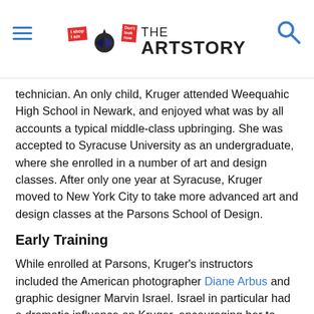THE ARTSTORY
technician. An only child, Kruger attended Weequahic High School in Newark, and enjoyed what was by all accounts a typical middle-class upbringing. She was accepted to Syracuse University as an undergraduate, where she enrolled in a number of art and design classes. After only one year at Syracuse, Kruger moved to New York City to take more advanced art and design classes at the Parsons School of Design.
Early Training
While enrolled at Parsons, Kruger's instructors included the American photographer Diane Arbus and graphic designer Marvin Israel. Israel in particular had a dramatic influence on Kruger, encouraging her to prepare a professional portfolio when she was becoming disenchanted with art school. At this early stage in Kruger's training, she had yet to assimilate mass media imagery, language, and signage